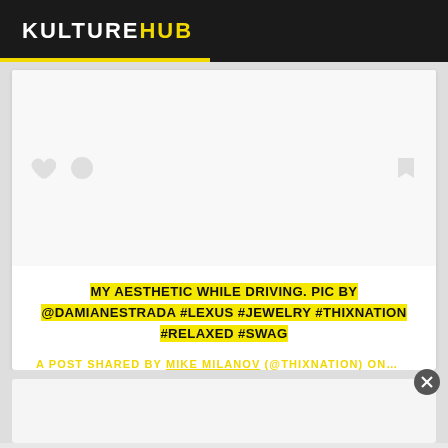KULTUREHUB
[Figure (screenshot): Social media card with heart and comment icons, bookmark icon, white background image area]
MY AESTHETIC WHILE DRIVING. PIC BY @DAMIANESTRADA #LEXUS #JEWELRY #THIXNATION #RELAXED #SWAG
A POST SHARED BY MIKE MILANOV (@THIXNATION) ON…